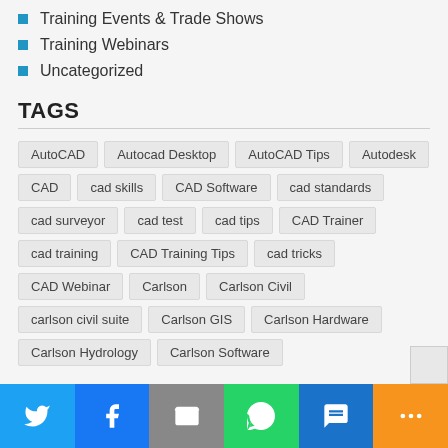Training Events & Trade Shows
Training Webinars
Uncategorized
TAGS
AutoCAD | Autocad Desktop | AutoCAD Tips | Autodesk | CAD | cad skills | CAD Software | cad standards | cad surveyor | cad test | cad tips | CAD Trainer | cad training | CAD Training Tips | cad tricks | CAD Webinar | Carlson | Carlson Civil | carlson civil suite | Carlson GIS | Carlson Hardware | Carlson Hydrology | Carlson Software